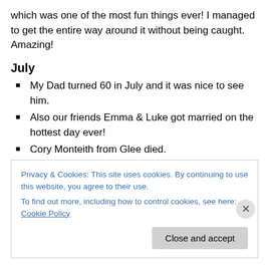which was one of the most fun things ever! I managed to get the entire way around it without being caught. Amazing!
July
My Dad turned 60 in July and it was nice to see him.
Also our friends Emma & Luke got married on the hottest day ever!
Cory Monteith from Glee died.
Superman Vs Batman announced! Hell yeah!
The Royal baby is born.
Privacy & Cookies: This site uses cookies. By continuing to use this website, you agree to their use. To find out more, including how to control cookies, see here: Cookie Policy